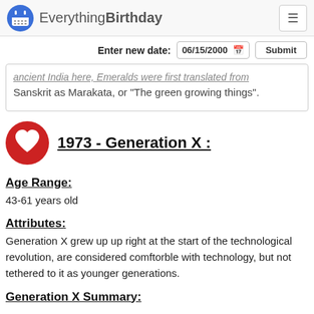EverythingBirthday
Enter new date: 06/15/2000  Submit
ancient India here, Emeralds were first translated from Sanskrit as Marakata, or "The green growing things".
1973 - Generation X :
Age Range:
43-61 years old
Attributes:
Generation X grew up up right at the start of the technological revolution, are considered comftorble with technology, but not tethered to it as younger generations.
Generation X Summary: